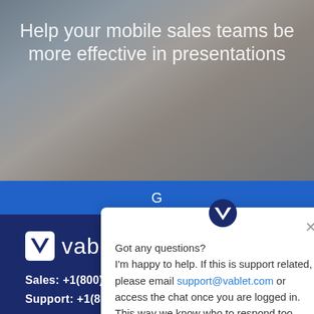[Figure (screenshot): Screenshot of Vablet website showing a person using a tablet, with hero text overlay, a blue CTA button, dark blue footer with Vablet logo, contact info, and an open chat popup widget.]
Help your mobile sales teams be more effective in presentations
G(et Started)
[Figure (logo): Vablet logo — white V checkmark icon followed by 'vablet' wordmark in white on dark blue background]
Sales: +1(800)615-4583
Support: +1(800)615-4296
Got any questions?
I'm happy to help. If this is support related, please email support@vablet.com or access the chat once you are logged in. This way we know who to respond too.